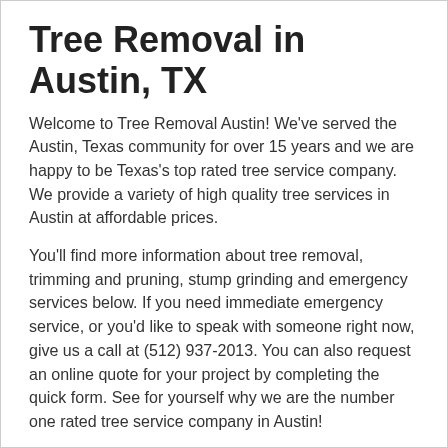Tree Removal in Austin, TX
Welcome to Tree Removal Austin! We've served the Austin, Texas community for over 15 years and we are happy to be Texas's top rated tree service company. We provide a variety of high quality tree services in Austin at affordable prices.
You'll find more information about tree removal, trimming and pruning, stump grinding and emergency services below. If you need immediate emergency service, or you'd like to speak with someone right now, give us a call at (512) 937-2013. You can also request an online quote for your project by completing the quick form. See for yourself why we are the number one rated tree service company in Austin!
Tree Removal
Complete removal of a tree in Austin can not only be hard to accomplish, but it can also be very dangerous.